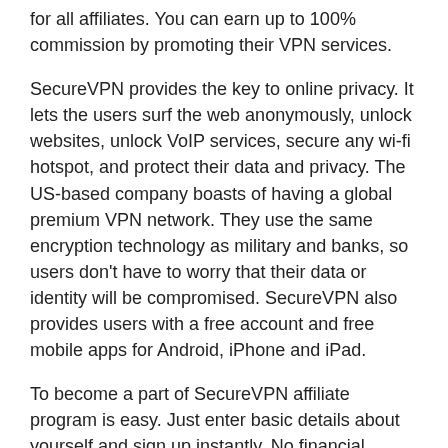for all affiliates. You can earn up to 100% commission by promoting their VPN services.
SecureVPN provides the key to online privacy. It lets the users surf the web anonymously, unlock websites, unlock VoIP services, secure any wi-fi hotspot, and protect their data and privacy. The US-based company boasts of having a global premium VPN network. They use the same encryption technology as military and banks, so users don't have to worry that their data or identity will be compromised. SecureVPN also provides users with a free account and free mobile apps for Android, iPhone and iPad.
To become a part of SecureVPN affiliate program is easy. Just enter basic details about yourself and sign up instantly. No financial information is required! Start promoting SecureVPN services right away. The higher the signups, the higher will be the commission. Just sit back and let the money roll in. With SecureVPN, you can actually earn up a lot per referral!
Commission Rates